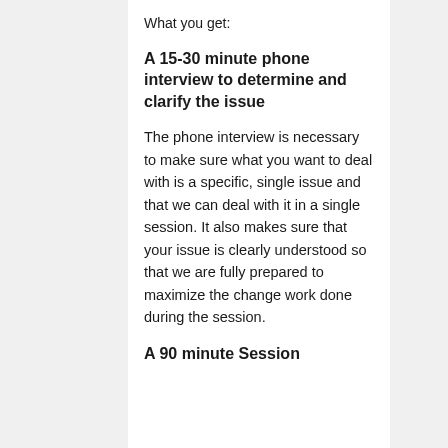What you get:
A 15-30 minute phone interview to determine and clarify the issue
The phone interview is necessary to make sure what you want to deal with is a specific, single issue and that we can deal with it in a single session. It also makes sure that your issue is clearly understood so that we are fully prepared to maximize the change work done during the session.
A 90 minute Session